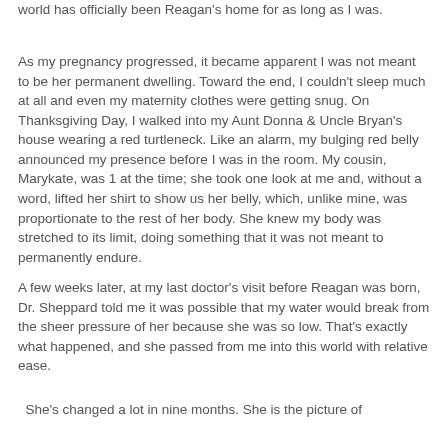world has officially been Reagan's home for as long as I was.
As my pregnancy progressed, it became apparent I was not meant to be her permanent dwelling.  Toward the end, I couldn't sleep much at all and even my maternity clothes were getting snug.  On Thanksgiving Day, I walked into my Aunt Donna & Uncle Bryan's house wearing a red turtleneck.  Like an alarm, my bulging red belly announced my presence before I was in the room.  My cousin, Marykate, was 1 at the time; she took one look at me and, without a word, lifted her shirt to show us her belly, which, unlike mine, was proportionate to the rest of her body.  She knew my body was stretched to its limit, doing something that it was not meant to permanently endure.
A few weeks later, at my last doctor's visit before Reagan was born, Dr. Sheppard told me it was possible that my water would break from the sheer pressure of her because she was so low.  That's exactly what happened, and she passed from me into this world with relative ease.
She's changed a lot in nine months.  She is the picture of